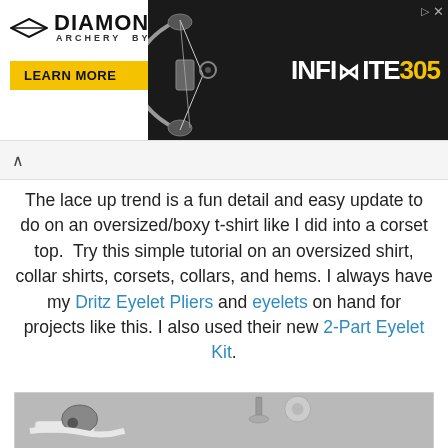[Figure (screenshot): Diamond Archery advertisement banner featuring the Infinite 305 bow, with a yellow 'LEARN MORE' button and compound bow silhouette on dark background]
The lace up trend is a fun detail and easy update to do on an oversized/boxy t-shirt like I did into a corset top.  Try this simple tutorial on an oversized shirt, collar shirts, corsets, collars, and hems. I always have my Dritz Eyelet Pliers and eyelets on hand for projects like this. I also used their new 2-Part Eyelet Kit.
[Figure (photo): Photo of eyelet pliers (chrome tool) holding white ribbon/fabric, along with an eyelet bolt/screw and washer ring shown on grey background]